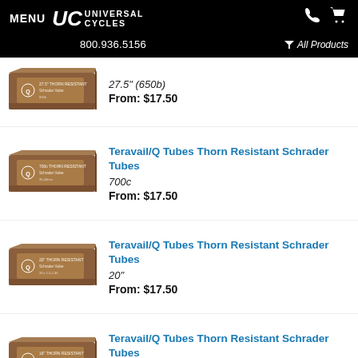MENU | UC UNIVERSAL CYCLES | 800.936.5156 | All Products
[Figure (photo): Teravail/Q Tubes Thorn Resistant Schrader Tube product box, brown packaging, 27.5" (650b)]
27.5" (650b)
From: $17.50
[Figure (photo): Teravail/Q Tubes Thorn Resistant Schrader Tube product box, brown packaging, 700c]
Teravail/Q Tubes Thorn Resistant Schrader Tubes
700c
From: $17.50
[Figure (photo): Teravail/Q Tubes Thorn Resistant Schrader Tube product box, brown packaging, 20"]
Teravail/Q Tubes Thorn Resistant Schrader Tubes
20"
From: $17.50
[Figure (photo): Teravail/Q Tubes Thorn Resistant Schrader Tube product box, brown packaging, 16"]
Teravail/Q Tubes Thorn Resistant Schrader Tubes
16"
From: $17.50